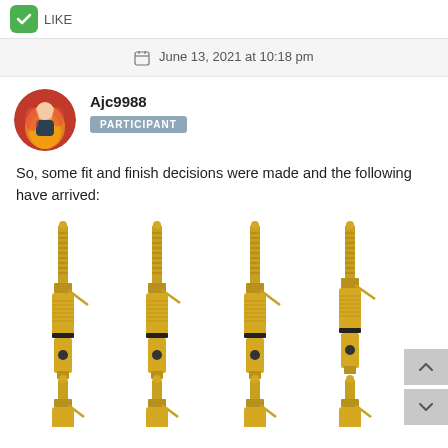12 LIKE
June 13, 2021 at 10:18 pm
Ajc9988
PARTICIPANT
So, some fit and finish decisions were made and the following have arrived:
[Figure (photo): Eight gold-plated banana plug connectors arranged in two rows of four, shown against a white background. The connectors are gold colored with black accent rings and show side-entry wire insertion holes.]